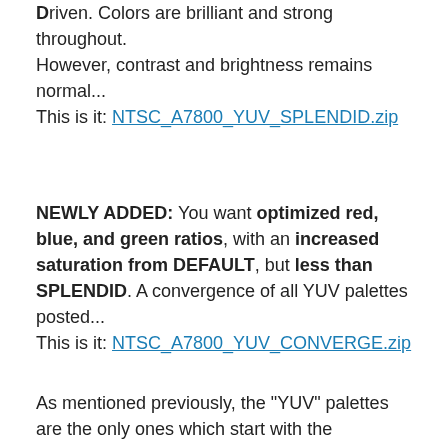Driven. Colors are brilliant and strong throughout. However, contrast and brightness remains normal... This is it: NTSC_A7800_YUV_SPLENDID.zip
NEWLY ADDED: You want optimized red, blue, and green ratios, with an increased saturation from DEFAULT, but less than SPLENDID. A convergence of all YUV palettes posted... This is it: NTSC_A7800_YUV_CONVERGE.zip
As mentioned previously, the "YUV" palettes are the only ones which start with the technically correct raw values for video output of an Atari 7800 and then adjustments are performed. Prior palettes started with either missing one or many of the known calculated base values of the system's palette, or the base value was incorrect; in other words,